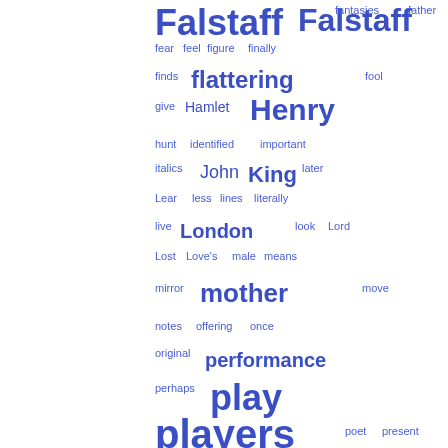[Figure (infographic): Word cloud in blue tones showing literary/academic terms. Larger words appear more frequently. Words include: Falstaff, fantasies, father, fear, feel, figure, finally, finds, flattering, fool, give, Hamlet, Henry, hunt, identified, important, italics, John, King, later, Lear, less, lines, literally, live, London, look, Lord, Lost, Love's, male, means, mirror, mother, move, notes, offering, once, original, performance, perhaps, play, players, poet, present, provides, reference, relation, Richard, role, Roman, Actor, says, scene, seems, seen, sense, Shake]